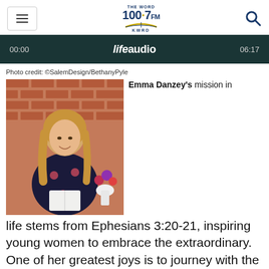[Figure (logo): The Word 100.7 FM KWRD radio station logo with open book graphic]
[Figure (screenshot): Audio player bar showing lifeaudio branding, timestamp 00:00 on left and 06:17 on right, dark teal background]
Photo credit: ©SalemDesign/BethanyPyle
[Figure (photo): Woman with long blonde hair wearing a dark floral dress, holding a book/bible, seated in front of a brick wall with flowers in a vase beside her]
Emma Danzey's mission in life stems from Ephesians 3:20-21, inspiring young women to embrace the extraordinary. One of her greatest joys is to journey with the Lord in His